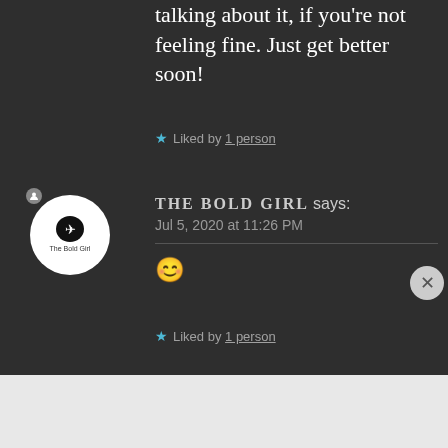talking about it, if you're not feeling fine. Just get better soon!
★ Liked by 1 person
THE BOLD GIRL says:
Jul 5, 2020 at 11:26 PM
[Figure (illustration): Smiling face emoji 😊]
★ Liked by 1 person
Advertisements
[Figure (logo): WordPress VIP advertisement with map background and Learn more button]